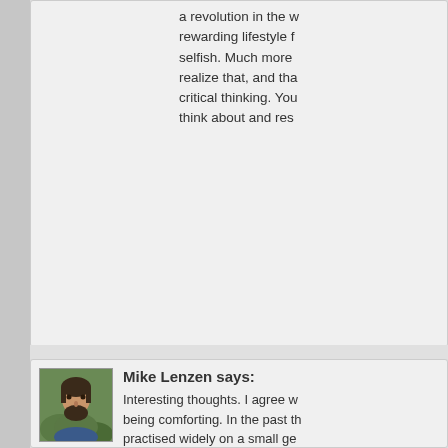a revolution in the w... rewarding lifestyle f... selfish. Much more ... realize that, and tha... critical thinking. You... think about and res...
Mike Lenzen says:
[Figure (photo): Avatar photo of Mike Lenzen — a man with dark hair and a beard]
Interesting thoughts. I agree w... being comforting. In the past th... practised widely on a small ge...
With modern day mono-culture... how it may seem difficult to im... us within just a few kilometres...
As for the farm acres debate, t... agricultural acres in the world. ... again we feed enough food to ... our cattle. It's easy to twist sta... cucumbers would have a very ... per acre (assuming we are talk...
Reply